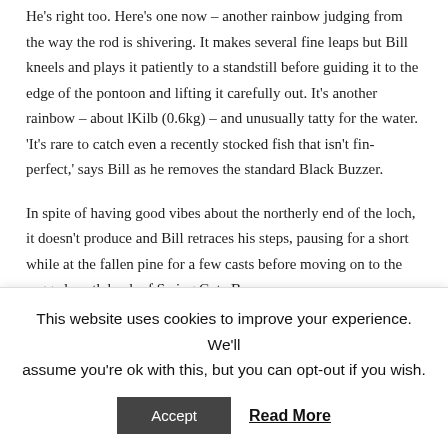He's right too. Here's one now – another rainbow judging from the way the rod is shivering. It makes several fine leaps but Bill kneels and plays it patiently to a standstill before guiding it to the edge of the pontoon and lifting it carefully out. It's another rainbow – about lKilb (0.6kg) – and unusually tatty for the water. 'It's rare to catch even a recently stocked fish that isn't fin-perfect,' says Bill as he removes the standard Black Buzzer.
In spite of having good vibes about the northerly end of the loch, it doesn't produce and Bill retraces his steps, pausing for a short while at the fallen pine for a few casts before moving on to the rugged south bank of Swing Gate Bay.
He works his way gradually along the bank, trying different flies
This website uses cookies to improve your experience. We'll assume you're ok with this, but you can opt-out if you wish.